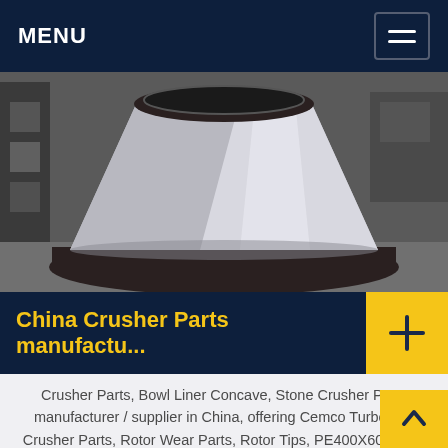MENU
[Figure (photo): A large metallic cone-shaped crusher bowl liner/mantle part, silver-grey in color, sitting on the factory floor. Industrial machinery and dark equipment visible in background.]
China Crusher Parts manufactu...
Crusher Parts, Bowl Liner Concave, Stone Crusher Parts manufacturer / supplier in China, offering Cemco Turbo VSI Crusher Parts, Rotor Wear Parts, Rotor Tips, PE400X600, Jaw Crusher Parts, Side Plates, Jaw...